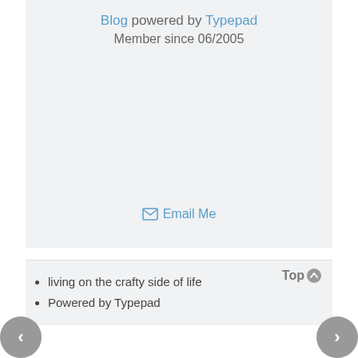Blog powered by Typepad
Member since 06/2005
Email Me
living on the crafty side of life
Powered by Typepad
Top